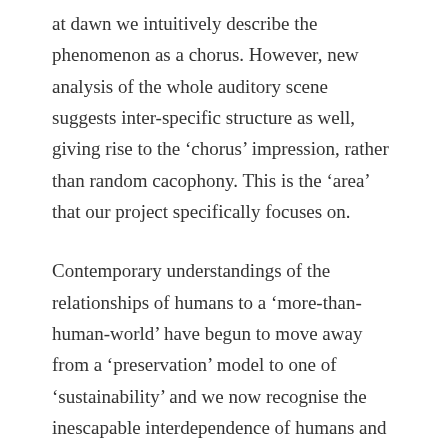at dawn we intuitively describe the phenomenon as a chorus. However, new analysis of the whole auditory scene suggests inter-specific structure as well, giving rise to the ‘chorus’ impression, rather than random cacophony. This is the ‘area’ that our project specifically focuses on.
Contemporary understandings of the relationships of humans to a ‘more-than-human-world’ have begun to move away from a ‘preservation’ model to one of ‘sustainability’ and we now recognise the inescapable interdependence of humans and their environments, a model that sees humans as participant members of a world rather than its users. This project links the Arts and the Environmental Sciences, human expression and bird communication in a